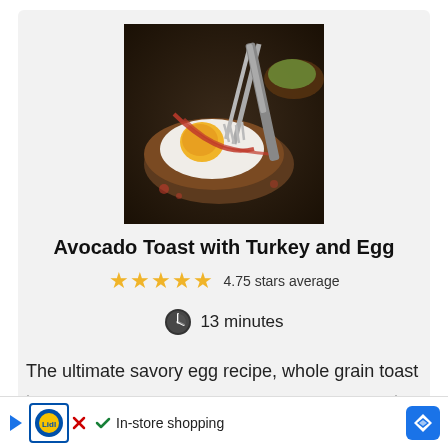[Figure (photo): Avocado toast topped with a fried egg drizzled with hot sauce, being cut with a fork and knife, on a dark plate.]
Avocado Toast with Turkey and Egg
4.75 stars average
13 minutes
The ultimate savory egg recipe, whole grain toast is to... key and...